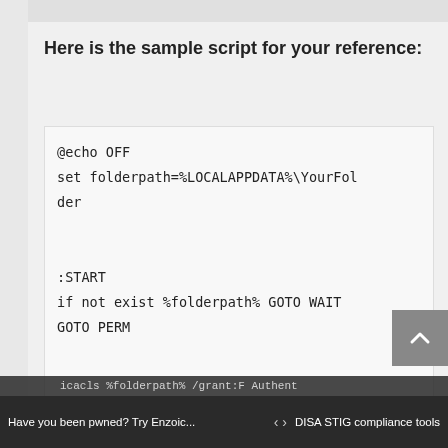Here is the sample script for your reference:
@echo OFF
set folderpath=%LOCALAPPDATA%\YourFolder

:START
if not exist %folderpath% GOTO WAIT
GOTO PERM

:WAIT
timeout /t 2 /nobreak
GOTO START

:PERM
Have you been pwned? Try Enzoic... < > DISA STIG compliance tools
icacls %folderpath% /grant:F  Authent